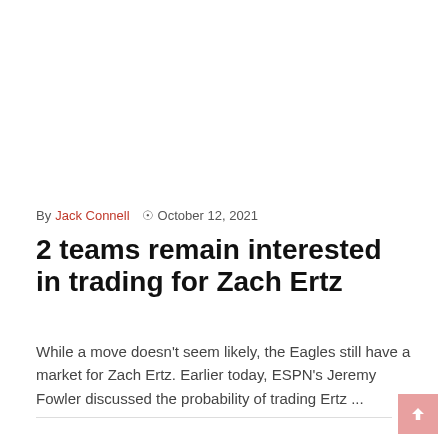By Jack Connell  ⊙  October 12, 2021
2 teams remain interested in trading for Zach Ertz
While a move doesn't seem likely, the Eagles still have a market for Zach Ertz. Earlier today, ESPN's Jeremy Fowler discussed the probability of trading Ertz ...
Read More